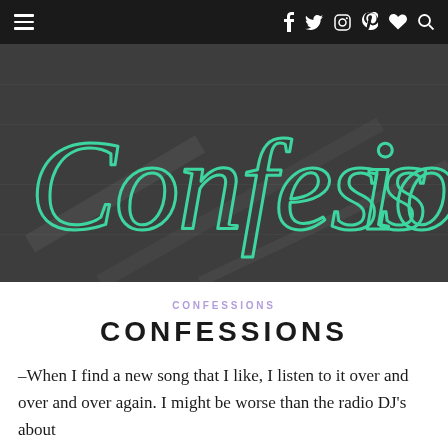Navigation bar with hamburger menu and social icons (f, twitter, instagram, pinterest, heart, search)
[Figure (photo): Dark chalkboard background with cursive teal/green handwritten text reading 'Confessio...' (partially cropped)]
CONFESSIONS
CONFESSIONS
–When I find a new song that I like, I listen to it over and over and over again. I might be worse than the radio DJ's about